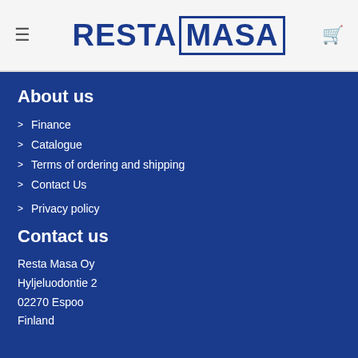RESTA MASA
About us
Finance
Catalogue
Terms of ordering and shipping
Contact Us
Privacy policy
Contact us
Resta Masa Oy
Hyljeluodontie 2
02270 Espoo
Finland